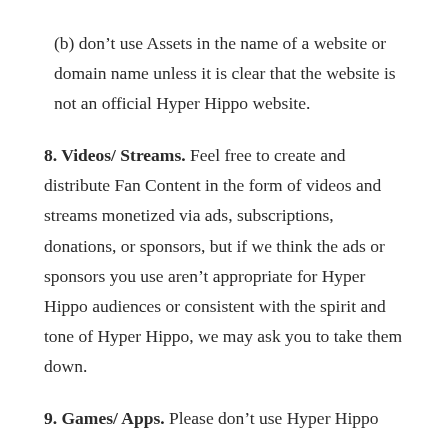(b) don’t use Assets in the name of a website or domain name unless it is clear that the website is not an official Hyper Hippo website.
8. Videos/ Streams. Feel free to create and distribute Fan Content in the form of videos and streams monetized via ads, subscriptions, donations, or sponsors, but if we think the ads or sponsors you use aren’t appropriate for Hyper Hippo audiences or consistent with the spirit and tone of Hyper Hippo, we may ask you to take them down.
9. Games/ Apps. Please don’t use Hyper Hippo